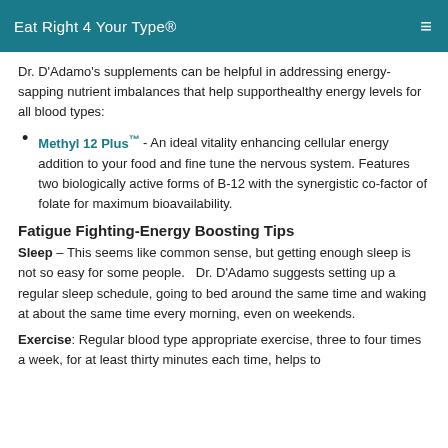Eat Right 4 Your Type®
Dr. D'Adamo's supplements can be helpful in addressing energy-sapping nutrient imbalances that help supporthealthy energy levels for all blood types:
Methyl 12 Plus™ - An ideal vitality enhancing cellular energy addition to your food and fine tune the nervous system. Features two biologically active forms of B-12 with the synergistic co-factor of folate for maximum bioavailability.
Fatigue Fighting-Energy Boosting Tips
Sleep – This seems like common sense, but getting enough sleep is not so easy for some people.   Dr. D'Adamo suggests setting up a regular sleep schedule, going to bed around the same time and waking at about the same time every morning, even on weekends.
Exercise: Regular blood type appropriate exercise, three to four times a week, for at least thirty minutes each time, helps to